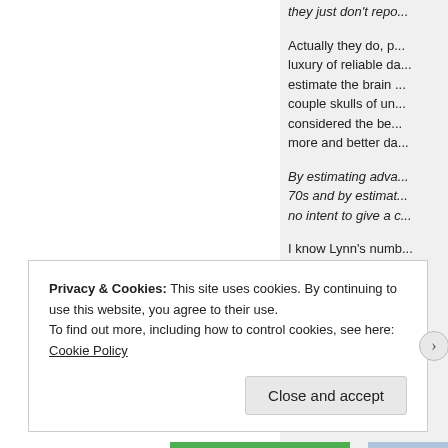they just don't repo...
Actually they do, p... luxury of reliable da... estimate the brain ... couple skulls of un... considered the be... more and better da...
By estimating adva... 70s and by estimat... no intent to give a c...
I know Lynn's numb... aboriginals so I wo... in a lot of other are...
Privacy & Cookies: This site uses cookies. By continuing to use this website, you agree to their use.
To find out more, including how to control cookies, see here: Cookie Policy
Close and accept